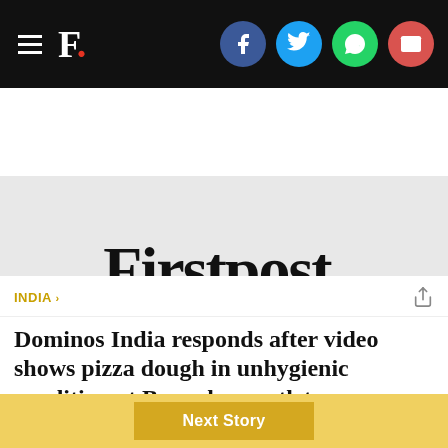F. [Firstpost logo] [Social icons: Facebook, Twitter, WhatsApp, Email]
[Figure (logo): Firstpost logo — large serif wordmark 'Firstpost.' with red dot on grey background]
INDIA
Dominos India responds after video shows pizza dough in unhygienic condition at Bangalore outlet
The American fast food joint came under the scanner after a tweet highlighted how the pantry was kept in unhygienic condition.
Next Story